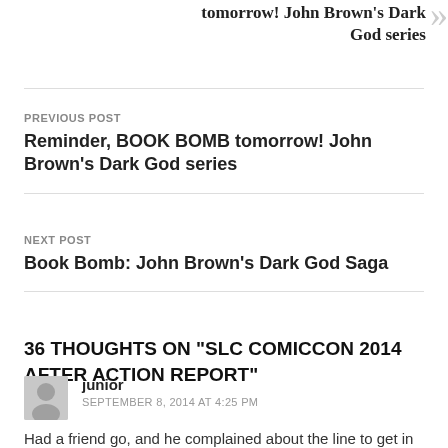tomorrow! John Brown's Dark God series
PREVIOUS POST
Reminder, BOOK BOMB tomorrow! John Brown's Dark God series
NEXT POST
Book Bomb: John Brown's Dark God Saga
36 THOUGHTS ON "SLC COMICCON 2014 AFTER ACTION REPORT"
junior
SEPTEMBER 8, 2014 AT 4:25 PM
Had a friend go, and he complained about the line to get in on the first day. He said he spoke to one of the organizers